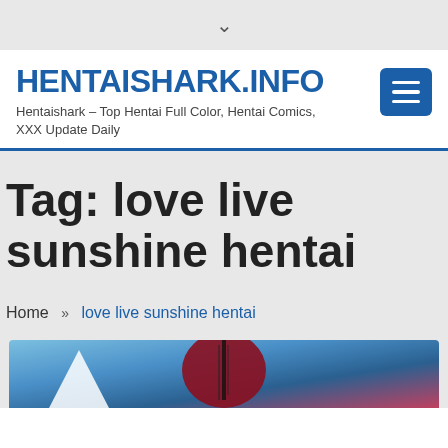↓
HENTAISHARK.INFO
Hentaishark – Top Hentai Full Color, Hentai Comics, XXX Update Daily
Tag: love live sunshine hentai
Home » love live sunshine hentai
[Figure (illustration): Partial view of an anime illustration with blue background and red/dark character elements]